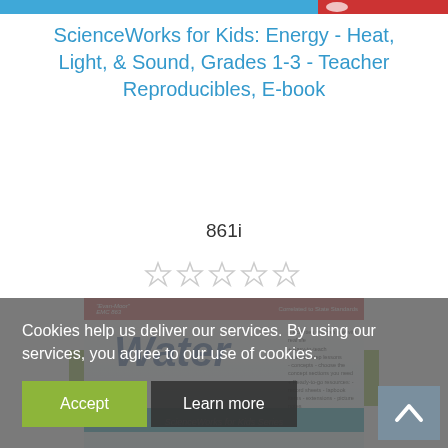[Figure (screenshot): Top navigation banner strip with blue and red horizontal color blocks]
ScienceWorks for Kids: Energy - Heat, Light, & Sound, Grades 1-3 - Teacher Reproducibles, E-book
861i
[Figure (other): Five empty star rating icons in a row (no rating)]
$14.99 (USD)
ADD TO CART
Cookies help us deliver our services. By using our services, you agree to our use of cookies.
Accept
Learn more
[Figure (photo): ScienceWorks for Kids Series book cover featuring Water topic with teal and yellow design]
[Figure (other): Back to top arrow button in grey]